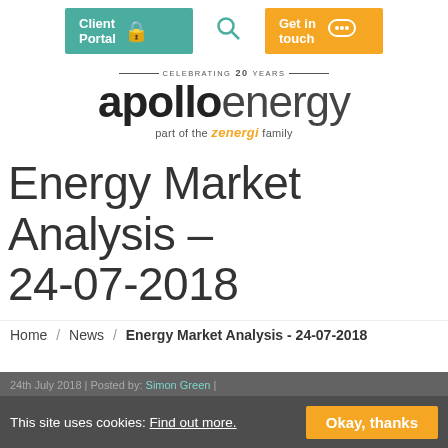[Figure (screenshot): Apollo Energy website header with navigation buttons: Client Portal (teal), search icon (teal), Get in touch (orange)]
[Figure (logo): Apollo Energy logo - 'apollo' in bold black, 'energy' in light grey, 'part of the zenergi family' subtitle, 'Celebrating 20 Years' banner above]
Energy Market Analysis - 24-07-2018
Home / News / Energy Market Analysis - 24-07-2018
24th July 2018 | Posted by: Simon Green | This site uses cookies: Find out more. Okay, thanks